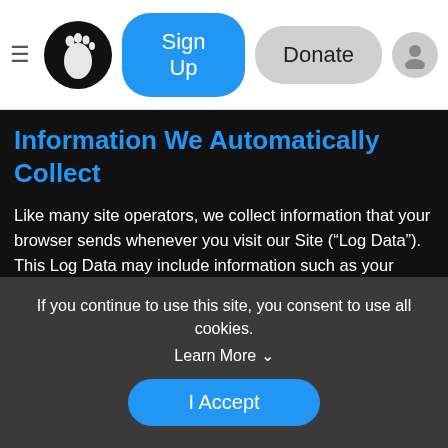Sign Up | Donate
Information We Automatically Collect
Like many site operators, we collect information that your browser sends whenever you visit our Site (“Log Data”). This Log Data may include information such as your device’s Internet (“IP”) address, browser type, browser version, the pages of our Site that you visit, the time and date of your visit, the time spent on those pages and other statistics. Your devices may also transmit information about the type of device, information regarding your location and operating system, and identifiers associated with the device, and we collect this information. We will
If you continue to use this site, you consent to use all cookies.
Learn More ∨
I Accept